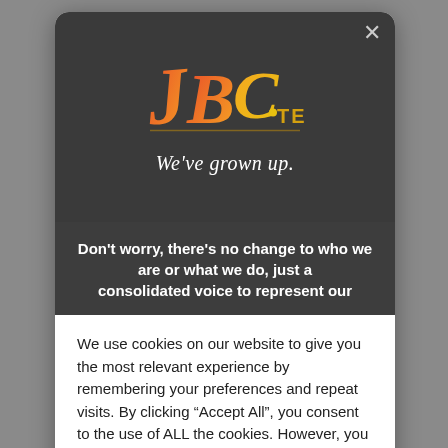[Figure (logo): JBC.TEAM logo with colorful stylized letters J, B, C in orange/red/yellow gradient and .TEAM in gold]
We've grown up.
Don't worry, there's no change to who we are or what we do, just a consolidated voice to represent our
We use cookies on our website to give you the most relevant experience by remembering your preferences and repeat visits. By clicking “Accept All”, you consent to the use of ALL the cookies. However, you may visit "Cookie Settings" to provide a controlled consent.
Cookie Settings
Accept All